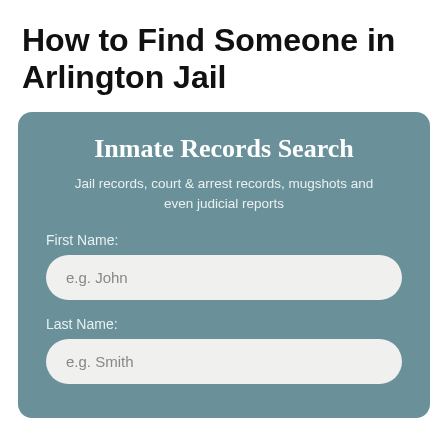How to Find Someone in Arlington Jail
[Figure (screenshot): Inmate Records Search form card with teal/slate background. Contains title 'Inmate Records Search', subtitle 'Jail records, court & arrest records, mugshots and even judicial reports', a First Name input field with placeholder 'e.g. John', and a Last Name input field with placeholder 'e.g. Smith'.]